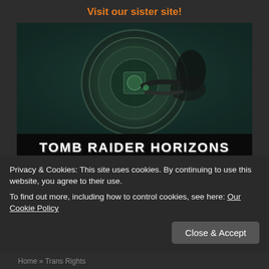Visit our sister site!
[Figure (screenshot): Tomb Raider Horizons promotional banner showing a character interacting with a Mayan calendar stone, with the title 'TOMB RAIDER HORIZONS' overlaid on a dark bar at the bottom]
[Figure (screenshot): All Things Ahsoka banner with character face images on left and right sides and text 'ALL THINGS AHSOKA' in the center]
Privacy & Cookies: This site uses cookies. By continuing to use this website, you agree to their use.
To find out more, including how to control cookies, see here: Our Cookie Policy
Close & Accept
Home » Trans Rights